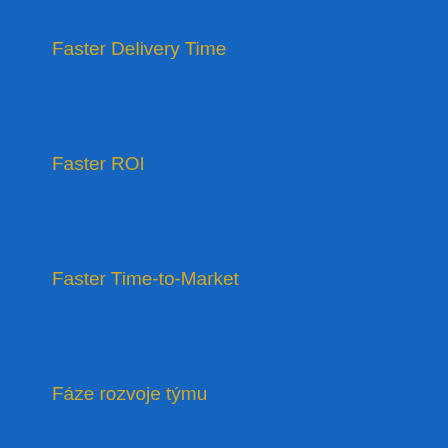Faster Delivery Time
Faster ROI
Faster Time-to-Market
Fáze rozvoje týmu
Feathered Quill Book Awards
Featured Author
February 16 2019
FF91
Fibonacci sequence